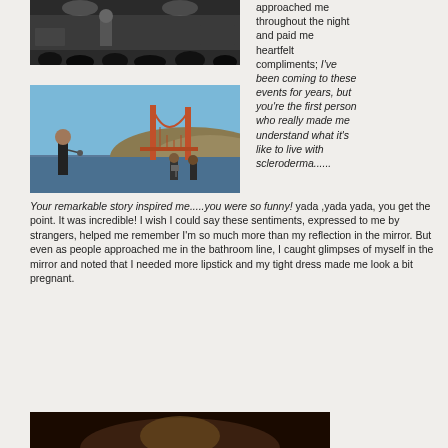[Figure (photo): Photo of a person on stage at an outdoor event with audience in foreground, dark background with stage lighting]
[Figure (photo): Photo of a man in a suit speaking at a podium/microphone with the Golden Gate Bridge visible in the background, band members visible]
approached me throughout the night and paid me heartfelt compliments; I've been coming to these events for years, but you're the first person who really made me understand what it's like to live with scleroderma...... Your remarkable story inspired me.....you were so funny! yada ,yada yada, you get the point. It was incredible! I wish I could say these sentiments, expressed to me by strangers, helped me remember I'm so much more than my reflection in the mirror. But even as people approached me in the bathroom line, I caught glimpses of myself in the mirror and noted that I needed more lipstick and my tight dress made me look a bit pregnant.
[Figure (photo): Partial photo of a person visible at bottom of page, dark/warm toned background]